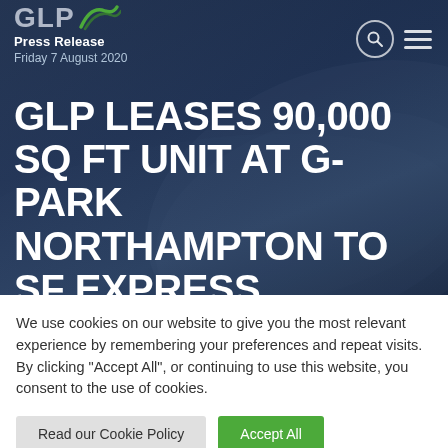[Figure (screenshot): GLP website header with logo, Press Release label, date, and navigation icons (search and hamburger menu) on dark navy background]
Press Release
Friday 7 August 2020
GLP LEASES 90,000 SQ FT UNIT AT G-PARK NORTHAMPTON TO SF EXPRESS
We use cookies on our website to give you the most relevant experience by remembering your preferences and repeat visits. By clicking "Accept All", or continuing to use this website, you consent to the use of cookies.
Read our Cookie Policy
Accept All